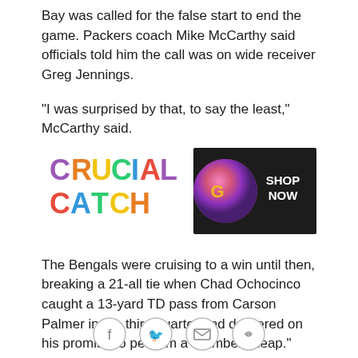Bay was called for the false start to end the game. Packers coach Mike McCarthy said officials told him the call was on wide receiver Greg Jennings.
"I was surprised by that, to say the least," McCarthy said.
[Figure (other): Crucial Catch advertisement banner with colorful text reading 'CRUCIAL CATCH' and a shop now button with Bengals helmet imagery]
The Bengals were cruising to a win until then, breaking a 21-all tie when Chad Ochocinco caught a 13-yard TD pass from Carson Palmer in the third quarter and delivered on his promise to perform a "Lambeau leap."
Ochocinco ran toward the stands and spotted a small group of fans in Bengals orange in the front row near the end zone, then leaped into them -- just like players from
[Figure (other): Social sharing icons bar: Facebook, Twitter, Email, Link]